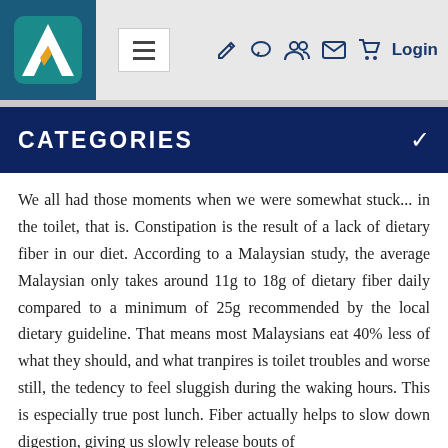Navigation header with logo and icons: hamburger menu, pencil, chat, users, mail, cart, Login
CATEGORIES
We all had those moments when we were somewhat stuck... in the toilet, that is. Constipation is the result of a lack of dietary fiber in our diet. According to a Malaysian study, the average Malaysian only takes around 11g to 18g of dietary fiber daily compared to a minimum of 25g recommended by the local dietary guideline. That means most Malaysians eat 40% less of what they should, and what tranpires is toilet troubles and worse still, the tedency to feel sluggish during the waking hours. This is especially true post lunch. Fiber actually helps to slow down digestion, giving us slowly release bouts of